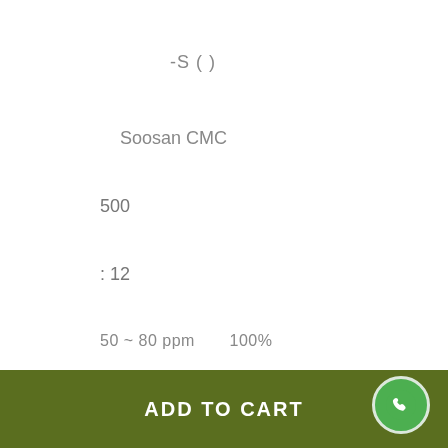-S (      )
Soosan CMC
500
: 12
50 ~ 80 ppm        100%
.......
ADD TO CART